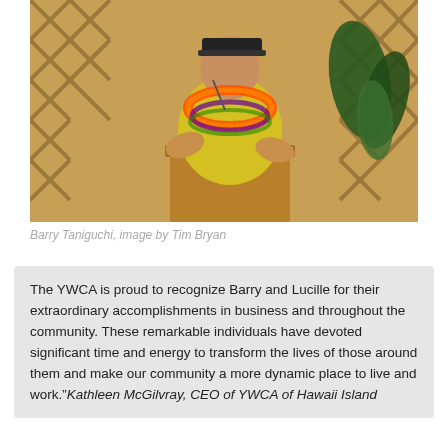[Figure (photo): A man wearing a yellow shirt and orange lei standing at a wooden podium speaking into a microphone, with a lattice background and tropical plants behind him.]
Barry Taniguchi, image by Tim Bryan
The YWCA is proud to recognize Barry and Lucille for their extraordinary accomplishments in business and throughout the community. These remarkable individuals have devoted significant time and energy to transform the lives of those around them and make our community a more dynamic place to live and work." Kathleen McGilvray, CEO of YWCA of Hawaii Island